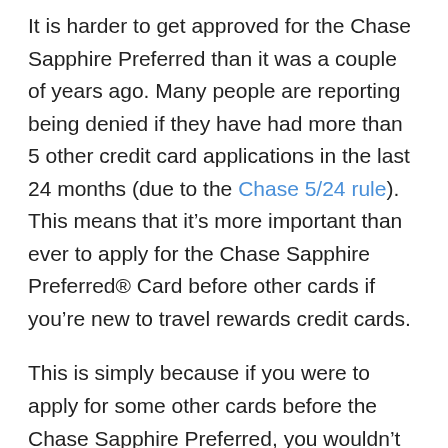It is harder to get approved for the Chase Sapphire Preferred than it was a couple of years ago. Many people are reporting being denied if they have had more than 5 other credit card applications in the last 24 months (due to the Chase 5/24 rule). This means that it's more important than ever to apply for the Chase Sapphire Preferred® Card before other cards if you're new to travel rewards credit cards.
This is simply because if you were to apply for some other cards before the Chase Sapphire Preferred, you wouldn't be eligible. No one wants that.
If you've had the Chase Sapphire Preferred card